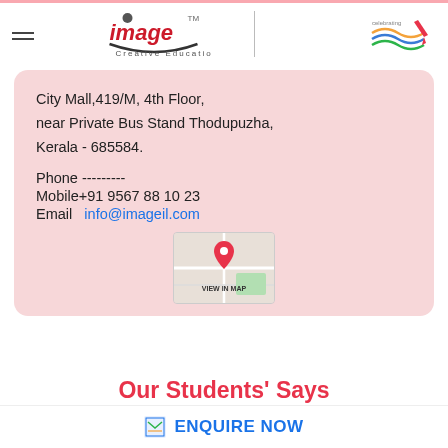[Figure (logo): Image Creative Education logo with hamburger menu icon and a celebration logo on the right]
City Mall,419/M, 4th Floor,
near Private Bus Stand Thodupuzha,
Kerala - 685584.

Phone ---------
Mobile+91 9567 88 10 23
Email  info@imageil.com
[Figure (map): Map thumbnail with red location pin and VIEW IN MAP label]
Our Students' Says
ENQUIRE NOW